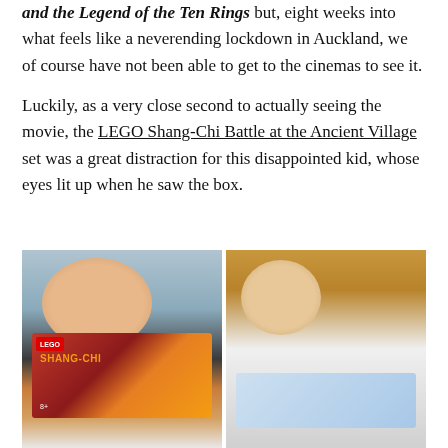and the Legend of the Ten Rings but, eight weeks into what feels like a neverending lockdown in Auckland, we of course have not been able to get to the cinemas to see it.
Luckily, as a very close second to actually seeing the movie, the LEGO Shang-Chi Battle at the Ancient Village set was a great distraction for this disappointed kid, whose eyes lit up when he saw the box.
[Figure (photo): Two photos side by side: left shows a smiling bald child holding up a LEGO Shang-Chi Battle at the Ancient Village box; right shows a blonde child looking down at an open instruction booklet, seated on a yellow couch.]